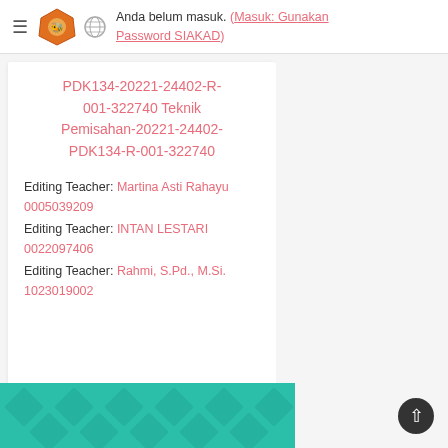Anda belum masuk. (Masuk: Gunakan Password SIAKAD)
PDK134-20221-24402-R-001-322740 Teknik Pemisahan-20221-24402-PDK134-R-001-322740
Editing Teacher: Martina Asti Rahayu 0005039209
Editing Teacher: INTAN LESTARI 0022097406
Editing Teacher: Rahmi, S.Pd., M.Si. 1023019002
[Figure (photo): Teal/green decorative banner with diamond pattern at the bottom of the page]